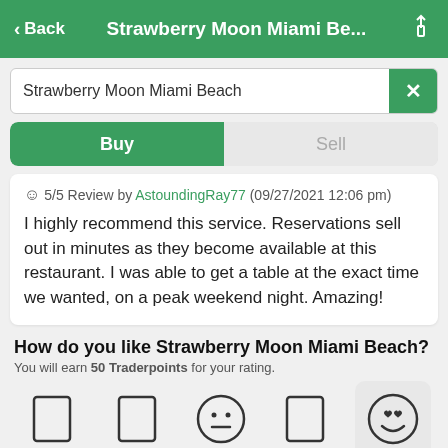< Back  Strawberry Moon Miami Be...  [share icon]
Strawberry Moon Miami Beach
Buy | Sell
☺ 5/5 Review by AstoundingRay77 (09/27/2021 12:06 pm)
I highly recommend this service. Reservations sell out in minutes as they become available at this restaurant. I was able to get a table at the exact time we wanted, on a peak weekend night. Amazing!
How do you like Strawberry Moon Miami Beach?
You will earn 50 Traderpoints for your rating.
[Figure (other): Five emoji rating buttons (very negative, negative, neutral, positive, very positive/love) with the last one highlighted on a gray background]